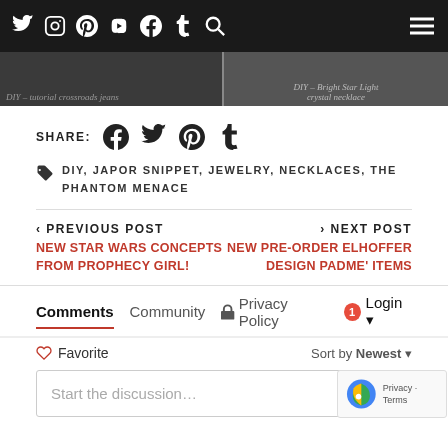Navigation bar with social icons: Twitter, Instagram, Pinterest, YouTube, Facebook, Tumblr, Search, and hamburger menu
[Figure (photo): Two partially visible image thumbnails with italic text captions: left caption partially visible 'DIY – tutorial crossroads jeans', right caption 'DIY – Bright Star Light crystal necklace']
SHARE: [Facebook] [Twitter] [Pinterest] [Tumblr]
DIY, JAPOR SNIPPET, JEWELRY, NECKLACES, THE PHANTOM MENACE
< PREVIOUS POST
NEW STAR WARS CONCEPTS FROM PROPHECY GIRL!
> NEXT POST
NEW PRE-ORDER ELHOFFER DESIGN PADME' ITEMS
Comments  Community  Privacy Policy  1  Login
Favorite  Sort by Newest
Start the discussion…